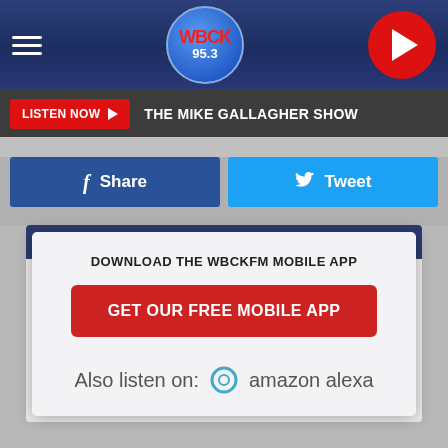[Figure (screenshot): WBCK 95.3 FM radio station mobile app website screenshot showing top navigation bar with hamburger menu, WBCK logo, play button, Listen Now bar with The Mike Gallagher Show, Facebook Share and Twitter Tweet buttons, a mobile app download modal overlay, and Amazon Alexa listen option]
WBCK 95.3
LISTEN NOW ▶  THE MIKE GALLAGHER SHOW
f  Share
Tweet
You can also learn more by checking out their Facebook, Youtube, and Tiktok. If you would like to donate to this fun cause, they accept @adobe, @abc, and paypal @worldslargesttrip@yahoo.com
DOWNLOAD THE WBCKFM MOBILE APP
GET OUR FREE MOBILE APP
Also listen on:  amazon alexa